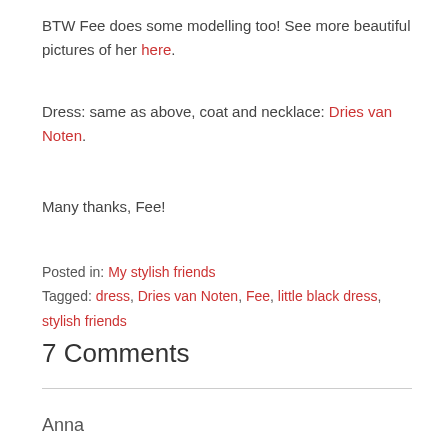BTW Fee does some modelling too! See more beautiful pictures of her here.
Dress: same as above, coat and necklace: Dries van Noten.
Many thanks, Fee!
Posted in: My stylish friends
Tagged: dress, Dries van Noten, Fee, little black dress, stylish friends
7 Comments
Anna